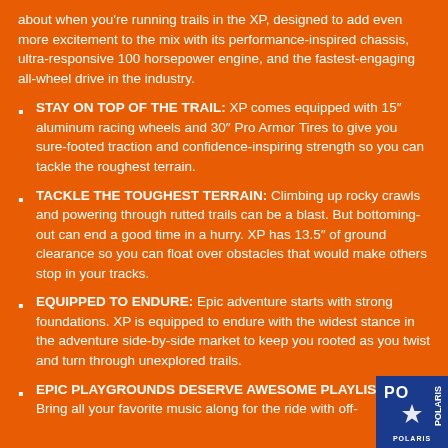about when you're running trails in the XP, designed to add even more excitement to the mix with its performance-inspired chassis, ultra-responsive 100 horsepower engine, and the fastest-engaging all-wheel drive in the industry.
STAY ON TOP OF THE TRAIL: XP comes equipped with 15" aluminum racing wheels and 30" Pro Armor Tires to give you sure-footed traction and confidence-inspiring strength so you can tackle the roughest terrain.
TACKLE THE TOUGHEST TERRAIN: Climbing up rocky crawls and powering through rutted trails can be a blast. But bottoming-out can end a good time in a hurry. XP has 13.5" of ground clearance so you can float over obstacles that would make others stop in your tracks.
EQUIPPED TO ENDURE: Epic adventure starts with strong foundations. XP is equipped to endure with the widest stance in the adventure side-by-side market to keep you rooted as you twist and turn through unexplored trails.
EPIC PLAYGROUNDS DESERVE AWESOME PLAYLISTS: Bring all your favorite music along for the ride with off-
[Figure (logo): Polaris logo in bottom-right corner, blue background with white Polaris star and text]